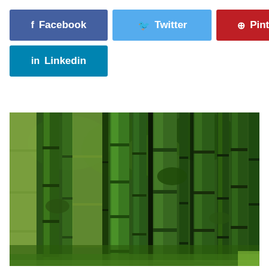[Figure (other): Social media share buttons: Facebook (dark blue), Twitter (light blue), Pinterest (red), Linkedin (teal blue)]
[Figure (photo): Dense bamboo forest with tall green bamboo stalks and green foliage in the background]